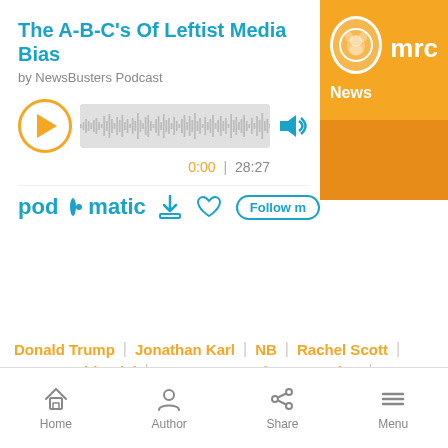The A-B-C's Of Leftist Media Bias
by NewsBusters Podcast
[Figure (screenshot): Audio player with waveform visualization, play button, volume icon, showing time 0:00 | 28:27]
[Figure (logo): Podomatic podcast platform logo in blue with download, favorite, and follow buttons]
[Figure (logo): MRC News logo on orange background with lion mascot in white circle]
Donald Trump | Jonathan Karl | NB | Rachel Scott |
2020 Presidential | 2020 Democratic convention |
2020 Republican convention | NB Podcast |
Home | Author | Share | Menu